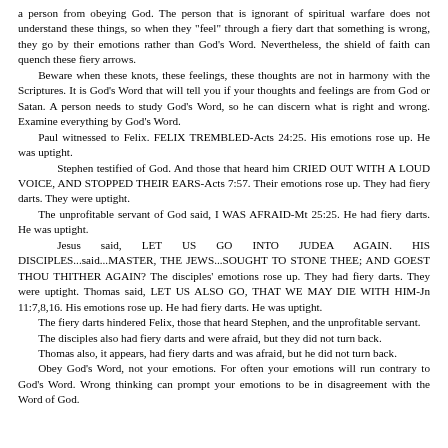a person from obeying God. The person that is ignorant of spiritual warfare does not understand these things, so when they "feel" through a fiery dart that something is wrong, they go by their emotions rather than God's Word. Nevertheless, the shield of faith can quench these fiery arrows.
Beware when these knots, these feelings, these thoughts are not in harmony with the Scriptures. It is God's Word that will tell you if your thoughts and feelings are from God or Satan. A person needs to study God's Word, so he can discern what is right and wrong. Examine everything by God's Word.
Paul witnessed to Felix. FELIX TREMBLED-Acts 24:25. His emotions rose up. He was uptight.
Stephen testified of God. And those that heard him CRIED OUT WITH A LOUD VOICE, AND STOPPED THEIR EARS-Acts 7:57. Their emotions rose up. They had fiery darts. They were uptight.
The unprofitable servant of God said, I WAS AFRAID-Mt 25:25. He had fiery darts. He was uptight.
Jesus said, LET US GO INTO JUDEA AGAIN. HIS DISCIPLES...said...MASTER, THE JEWS...SOUGHT TO STONE THEE; AND GOEST THOU THITHER AGAIN? The disciples' emotions rose up. They had fiery darts. They were uptight. Thomas said, LET US ALSO GO, THAT WE MAY DIE WITH HIM-Jn 11:7,8,16. His emotions rose up. He had fiery darts. He was uptight.
The fiery darts hindered Felix, those that heard Stephen, and the unprofitable servant.
The disciples also had fiery darts and were afraid, but they did not turn back.
Thomas also, it appears, had fiery darts and was afraid, but he did not turn back.
Obey God's Word, not your emotions. For often your emotions will run contrary to God's Word. Wrong thinking can prompt your emotions to be in disagreement with the Word of God.